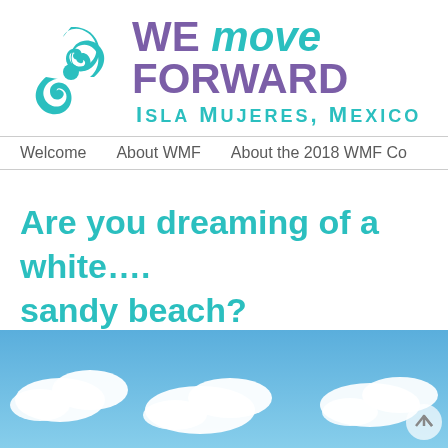[Figure (logo): We Move Forward logo with teal swirl emblem, text reading WE MOVE FORWARD Isla Mujeres, Mexico in purple and teal]
Welcome    About WMF    About the 2018 WMF Co
Are you dreaming of a white…. sandy beach?
[Figure (photo): Blue sky with white fluffy clouds, beach scene]